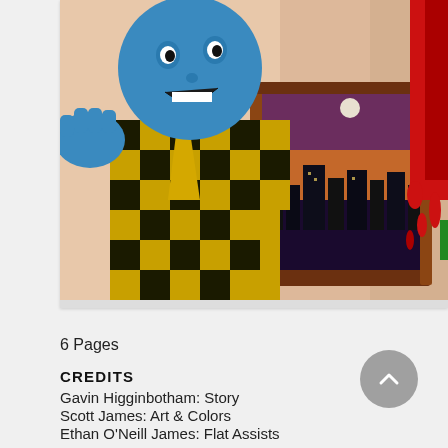[Figure (illustration): Comic book artwork showing a blue-skinned villain in a yellow and black checkered suit lunging forward with a menacing expression, against a room interior with a night cityscape visible through a window, and red dripping elements on the right side.]
6 Pages
CREDITS
Gavin Higginbotham: Story
Scott James: Art & Colors
Ethan O'Neill James: Flat Assists